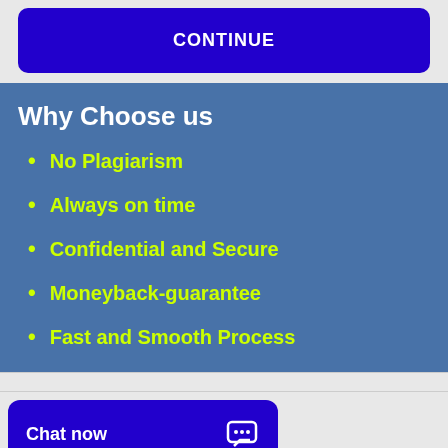CONTINUE
Why Choose us
No Plagiarism
Always on time
Confidential and Secure
Moneyback-guarantee
Fast and Smooth Process
Chat now